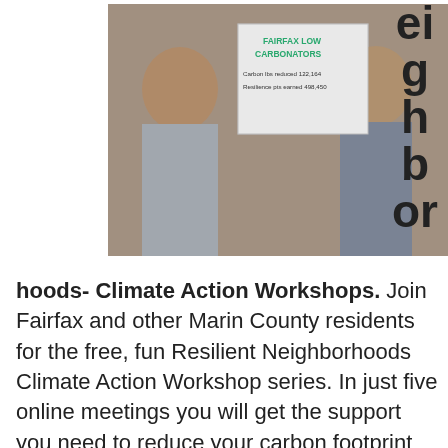[Figure (photo): Group photo of people indoors holding a sign reading 'Fairfax Low Carbonators' with text 'Carbon lbs reduced 122,164 / Resilience pts earned 498,450']
eighbor
hoods- Climate Action Workshops. Join Fairfax and other Marin County residents for the free, fun Resilient Neighborhoods Climate Action Workshop series. In just five online meetings you will get the support you need to reduce your carbon footprint get prepared for emergencies like wildfires and power outages. Over 1,500 people in Marin have reduced 8.6 million pounds of CO2 pollution through Resilient Neighborhoods.